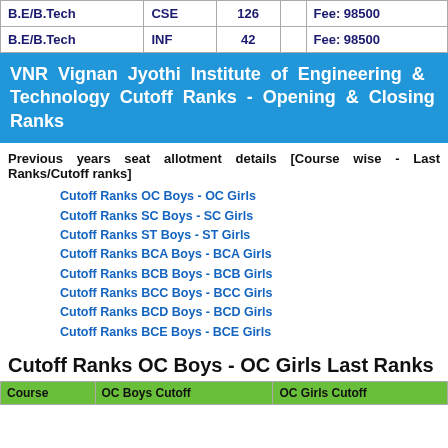|  |  |  |  |  |
| --- | --- | --- | --- | --- |
| B.E/B.Tech | CSE | 126 |  | Fee: 98500 |
| B.E/B.Tech | INF | 42 |  | Fee: 98500 |
VNR Vignan Jyothi Institute of Engineering & Technology Cutoff Ranks - Opening & Closing Ranks
Previous years seat allotment details [Course wise - Last Ranks/Cutoff ranks]
Cutoff Ranks OC Boys - OC Girls
Cutoff Ranks SC Boys - SC Girls
Cutoff Ranks ST Boys - ST Girls
Cutoff Ranks BCA Boys - BCA Girls
Cutoff Ranks BCB Boys - BCB Girls
Cutoff Ranks BCC Boys - BCC Girls
Cutoff Ranks BCD Boys - BCD Girls
Cutoff Ranks BCE Boys - BCE Girls
Cutoff Ranks OC Boys - OC Girls Last Ranks
| Course | OC Boys Cutoff | OC Girls Cutoff |
| --- | --- | --- |